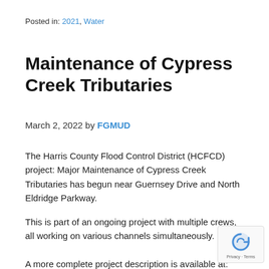Posted in: 2021, Water
Maintenance of Cypress Creek Tributaries
March 2, 2022 by FGMUD
The Harris County Flood Control District (HCFCD) project: Major Maintenance of Cypress Creek Tributaries has begun near Guernsey Drive and North Eldridge Parkway.
This is part of an ongoing project with multiple crews, all working on various channels simultaneously.
A more complete project description is available at: